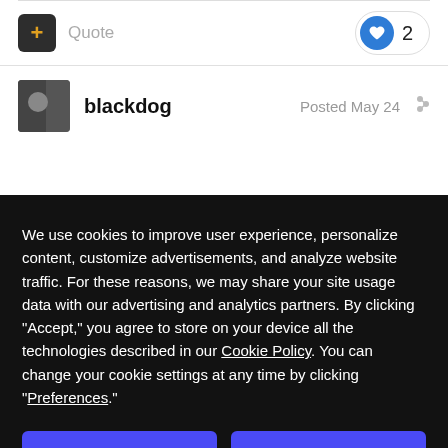[Figure (screenshot): Forum post action row with a dark plus/quote button on the left and a like pill (heart icon with count 2) on the right]
Quote
2
blackdog
Posted May 24
We use cookies to improve user experience, personalize content, customize advertisements, and analyze website traffic. For these reasons, we may share your site usage data with our advertising and analytics partners. By clicking “Accept,” you agree to store on your device all the technologies described in our Cookie Policy. You can change your cookie settings at any time by clicking “Preferences.”
Decline
Accept
Preferences